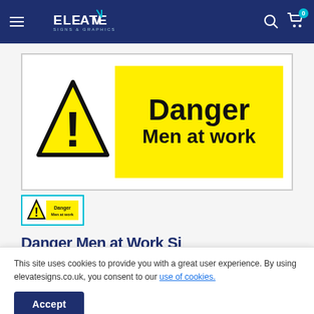ELEVATE SIGNS & GRAPHICS
[Figure (illustration): Danger Men at work safety sign: large product image showing a yellow warning triangle with exclamation mark on the left, and a yellow rectangle with bold black text 'Danger / Men at work' on the right, inside a white box with grey border.]
[Figure (illustration): Small thumbnail of the Danger Men at work sign, outlined with a teal/cyan border.]
Danger Men at Work Si...
This site uses cookies to provide you with a great user experience. By using elevatesigns.co.uk, you consent to our use of cookies.
Accept
Size: 300 x 100mm